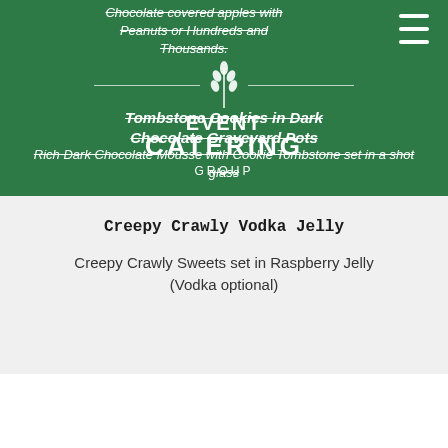Chocolate covered apples with Peanuts or Hundreds and Thousands.
[Figure (logo): Event Catering Group logo with wheat/grain emblem and horizontal divider lines]
Tombstone Cookies in Dark Chocolate Graveyard Pots
Rich Dark Chocolate Mousse with Cookie Tombstone set in a shot glass
Creepy Crawly Vodka Jelly
Creepy Crawly Sweets set in Raspberry Jelly (Vodka optional)